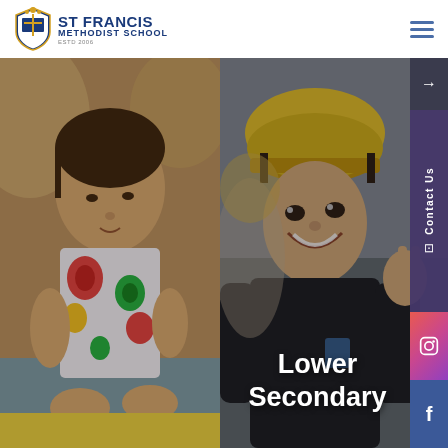ST FRANCIS METHODIST SCHOOL
[Figure (photo): Website screenshot of St Francis Methodist School homepage showing two photo panels: left panel shows a young child in a colorful floral apron doing a craft activity, right panel shows a smiling teenage girl wearing a yellow safety helmet making a peace sign. Sidebar on right has contact us, Instagram, and Facebook links. Text overlays read 'Primary' and 'Lower Secondary'.]
Primary
Lower Secondary